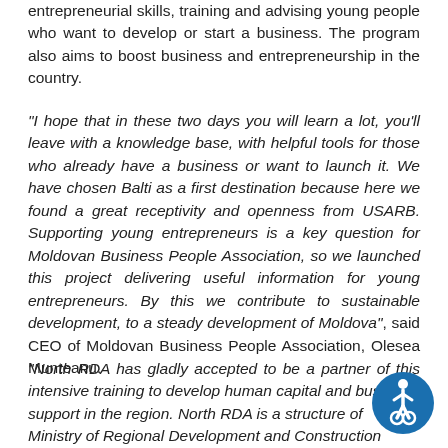entrepreneurial skills, training and advising young people who want to develop or start a business. The program also aims to boost business and entrepreneurship in the country.
"I hope that in these two days you will learn a lot, you'll leave with a knowledge base, with helpful tools for those who already have a business or want to launch it. We have chosen Balti as a first destination because here we found a great receptivity and openness from USARB. Supporting young entrepreneurs is a key question for Moldovan Business People Association, so we launched this project delivering useful information for young entrepreneurs. By this we contribute to sustainable development, to a steady development of Moldova", said CEO of Moldovan Business People Association, Olesea Munteanu.
"North RDA has gladly accepted to be a partner of this intensive training to develop human capital and business support in the region. North RDA is a structure of Ministry of Regional Development and Construction...
[Figure (illustration): Accessibility icon: blue circle with white wheelchair user symbol]